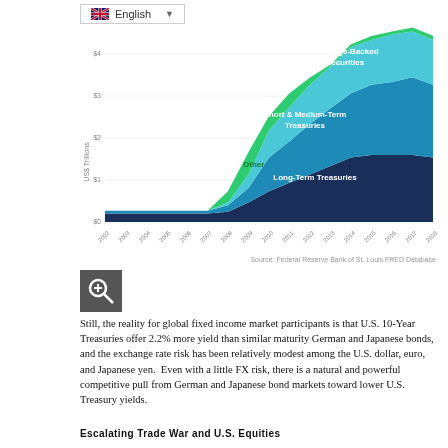[Figure (area-chart): Federal Reserve Balance Sheet Components]
Source: Federal Reserve Bank of St. Louis FRED Database
[Figure (other): Zoom/magnify icon button]
Still, the reality for global fixed income market participants is that U.S. 10-Year Treasuries offer 2.2% more yield than similar maturity German and Japanese bonds, and the exchange rate risk has been relatively modest among the U.S. dollar, euro, and Japanese yen.  Even with a little FX risk, there is a natural and powerful competitive pull from German and Japanese bond markets toward lower U.S. Treasury yields.
Escalating Trade War and U.S. Equities
There is no question that the US-China trade war has entered a new and escalated phase.  Both sides are dug into to what increasingly looks like a lose-lose situation for global economic growth.  The recent trade war developments have halted the upward momentum in U.S. equities.  There has been selling